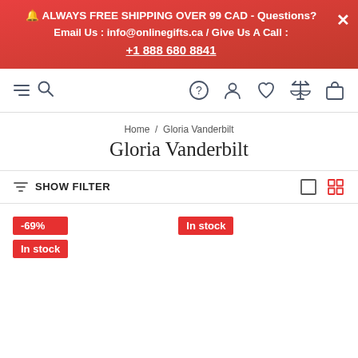🔔 ALWAYS FREE SHIPPING OVER 99 CAD - Questions? Email Us : info@onlinegifts.ca / Give Us A Call : +1 888 680 8841
[Figure (screenshot): Navigation bar with hamburger/search icon on left and icons for help, account, wishlist, compare, and cart on right]
Home / Gloria Vanderbilt
Gloria Vanderbilt
SHOW FILTER
-69% | In stock | In stock